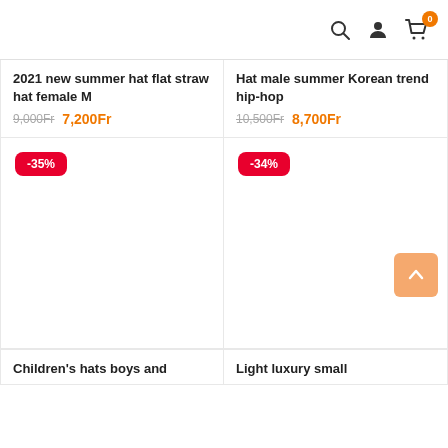Search, User profile, Cart (0)
2021 new summer hat flat straw hat female M
9,000Fr  7,200Fr
Hat male summer Korean trend hip-hop
10,500Fr  8,700Fr
[Figure (other): Product image area with -35% discount badge]
[Figure (other): Product image area with -34% discount badge]
Children's hats boys and
Light luxury small